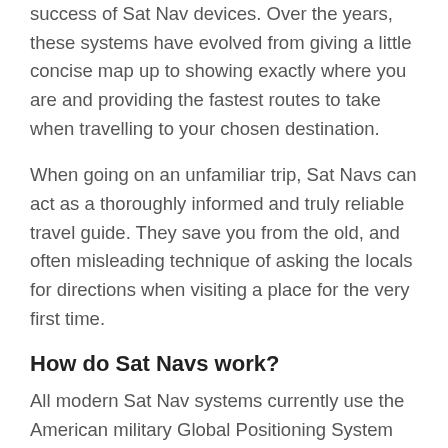success of Sat Nav devices. Over the years, these systems have evolved from giving a little concise map up to showing exactly where you are and providing the fastest routes to take when travelling to your chosen destination.
When going on an unfamiliar trip, Sat Navs can act as a thoroughly informed and truly reliable travel guide. They save you from the old, and often misleading technique of asking the locals for directions when visiting a place for the very first time.
How do Sat Navs work?
All modern Sat Nav systems currently use the American military Global Positioning System (GPS)